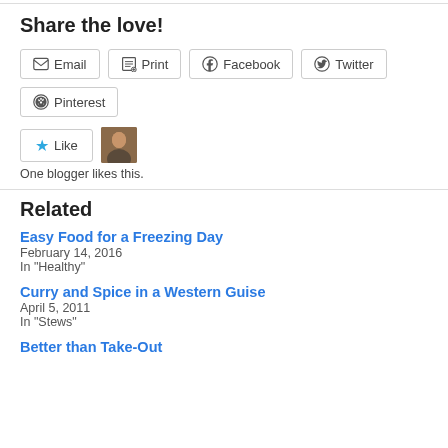Share the love!
Email  Print  Facebook  Twitter  Pinterest
[Figure (other): Like button with blue star icon and a small blogger avatar photo next to it]
One blogger likes this.
Related
Easy Food for a Freezing Day
February 14, 2016
In "Healthy"
Curry and Spice in a Western Guise
April 5, 2011
In "Stews"
Better than Take-Out